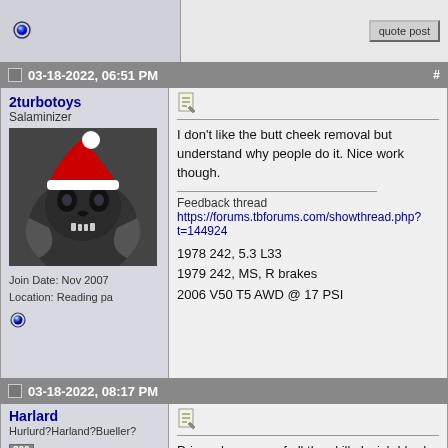[Figure (screenshot): Forum post status icon (blue circle)]
quote post
03-18-2022, 06:51 PM
2turbotoys
Salaminizer
[Figure (photo): User avatar: dark animal skull wearing a red Santa hat]
Join Date: Nov 2007
Location: Reading pa
I don't like the butt cheek removal but understand why people do it. Nice work though.
Feedback thread
https://forums.tbforums.com/showthread.php?t=144924
1978 242, 5.3 L33
1979 242, MS, R brakes
2006 V50 T5 AWD @ 17 PSI
quote post
03-18-2022, 08:17 PM
Harlard
Hurlurd?Harland?Bueller?
Prime showcase of all the skills I wish I had,
Herr Harlard am Erstens
1979 242 DL